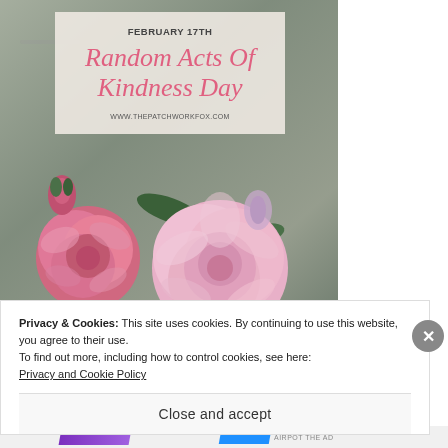[Figure (photo): Photograph of pink peonies/roses against a grey textured background, with a semi-transparent overlay box containing text about Random Acts of Kindness Day on February 17th, from www.thepatchworkfox.com]
Privacy & Cookies: This site uses cookies. By continuing to use this website, you agree to their use.
To find out more, including how to control cookies, see here:
Privacy and Cookie Policy
Close and accept